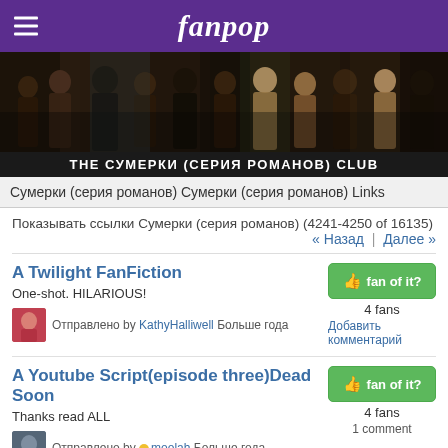fanpop
[Figure (photo): Banner photo showing Twilight saga movie characters group shots across a dark background]
THE СУМЕРКИ (СЕРИЯ РОМАНОВ) CLUB
Сумерки (серия романов) Сумерки (серия романов) Links
Показывать ссылки Сумерки (серия романов) (4241-4250 of 16135)
« Назад  |  Далее »
A Twilight FanFiction — One-shot. HILARIOUS! — Отправлено by KathyHalliwell Больше года — 4 fans — Добавить комментарий
A Youtube Script(episode three)Dead Soon — Thanks read ALL — Отправлено by moolah Больше года — 4 fans — 1 comment
A Youtube Script(Twilight)Preview/Trailer — Thanks! — 4 fans